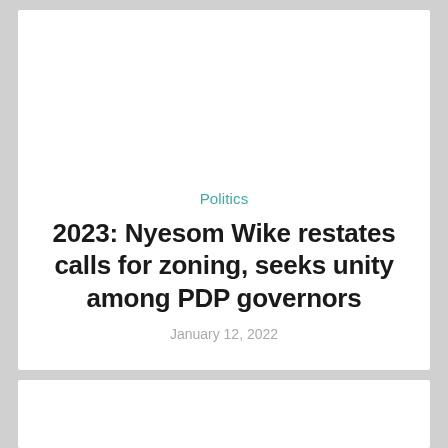Politics
2023: Nyesom Wike restates calls for zoning, seeks unity among PDP governors
January 12, 2022